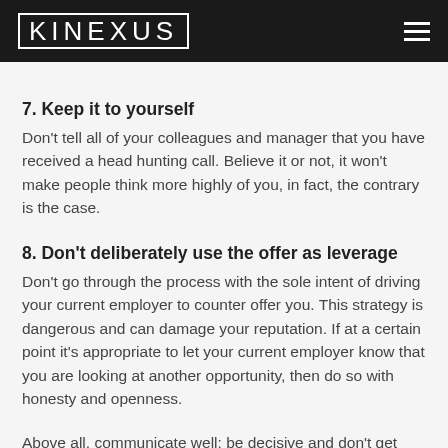KINEXUS
7. Keep it to yourself
Don't tell all of your colleagues and manager that you have received a head hunting call.  Believe it or not, it won't make people think more highly of you, in fact, the contrary is the case.
8. Don't deliberately use the offer as leverage
Don't go through the process with the sole intent of driving your current employer to counter offer you. This strategy is dangerous and can damage your reputation. If at a certain point it's appropriate to let your current employer know that you are looking at another opportunity, then do so with honesty and openness.
Above all, communicate well; be decisive and don't get carried away by the fact that you have been